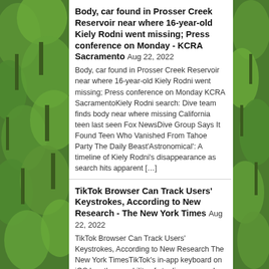Body, car found in Prosser Creek Reservoir near where 16-year-old Kiely Rodni went missing; Press conference on Monday - KCRA Sacramento Aug 22, 2022
Body, car found in Prosser Creek Reservoir near where 16-year-old Kiely Rodni went missing; Press conference on Monday  KCRA SacramentoKiely Rodni search: Dive team finds body near where missing California teen last seen  Fox NewsDive Group Says It Found Teen Who Vanished From Tahoe Party  The Daily Beast'Astronomical': A timeline of Kiely Rodni's disappearance as search hits apparent [...]
TikTok Browser Can Track Users' Keystrokes, According to New Research - The New York Times Aug 22, 2022
TikTok Browser Can Track Users' Keystrokes, According to New Research  The New York TimesTikTok's in-app keyboard on iOS has the capability of stealing personal data you type  PhoneArenaNew research claims TikTok can track users' keystrokes  WISH TV Indianapolis, INHow to Uncover the Creepy Tracking on In-App Browsers from TikTok and Instagram  BreitbartTikTok is monitoring all keyboard inputs and taps [...]
NFL Week 2 preseason winners and losers: